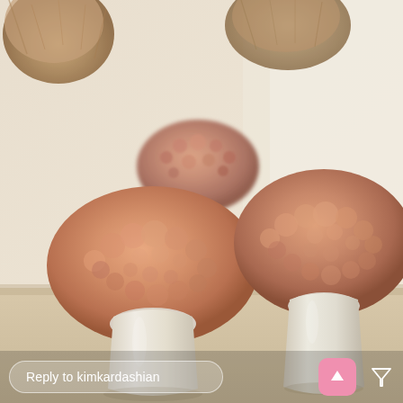[Figure (photo): Three white vases holding large dome-shaped bouquets of blush/peach roses on a light surface, with pampas grass arrangement visible in the background. Photo appears to be a social media story screenshot.]
Reply to kimkardashian